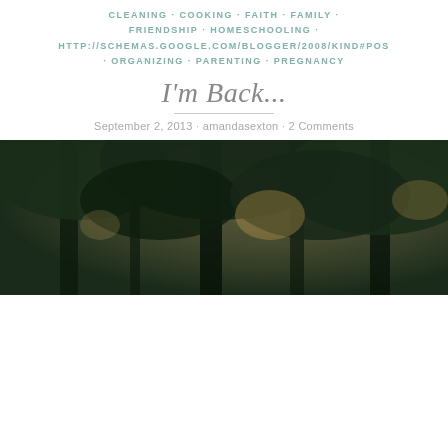CLEANING · COOKING · FAITH · FAMILY · FRIENDSHIP · HOMESCHOOLING · HTTP://SCHEMAS.GOOGLE.COM/BLOGGER/2008/KIND#POS · ORGANIZING · PARENTING · PREGNANCY
I'm Back...
September 2, 2013 · amandasexton · 2 Comments
[Figure (photo): Photograph looking up through tree canopy with dark green foliage and light filtering through]
Privacy & Cookies: This site uses cookies. By continuing to use this website, you agree to their use.
To find out more, including how to control cookies, see here: Cookie Policy
Close and accept